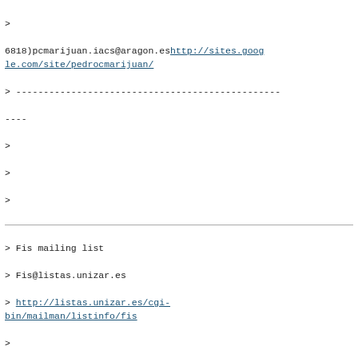> 
6818)pcmarijuan.iacs@aragon.es http://sites.google.com/site/pedrocmarijuan/
> ------------------------------------------------
----
>
>
>
> Fis mailing list
> Fis@listas.unizar.es
> http://listas.unizar.es/cgi-bin/mailman/listinfo/fis
>
>
Fis mailing list
Fis@listas.unizar.es
http://listas.unizar.es/cgi-bin/mailman/listinfo/fis
Previous message
View by thread